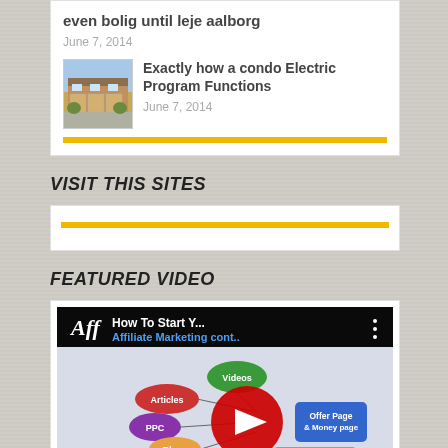even bolig until leje aalborg
June 7, 2014
[Figure (photo): Thumbnail photo of a residential condo building]
Exactly how a condo Electric Program Functions
June 7, 2014
VISIT THIS SITES
FEATURED VIDEO
[Figure (screenshot): YouTube video thumbnail: How To Start Y... Affiliate Marketing cont.. with a play button overlay and a diagram showing Articles, Videos, PPC, Blogs connected to Offer Page & Money page]